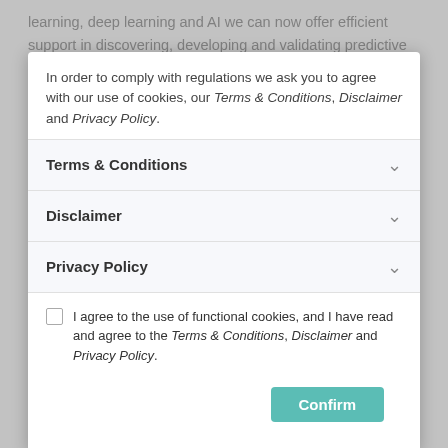learning, deep learning and AI we can now offer efficient support in discovering, developing and validating predictive models. Based on completely anonymized data we're able to extract any existing correlations between (even obfuscated) medical predictors. These correlations can be expressed in artificial neural networks, multi-variate mathematical equations, or more traditional regression models. Subsequently, models can be validated, published and shared.
Model Ownership & Copyright
The models we discover, develop and validate as a product of our paid services are the property of the respective customer. The customer can limit the use of functional cookies, and I have read and agree to the Terms & Conditions, Disclaimer and Privacy Policy by making it a 'private' model on Evidencio accessible only for the customer's organization.
Of course we'd like to see new models enter the public domain on the Evidencio platform, either as free models or as licensed content. When made available as licensed content, a model is available to subscription users only, and thus generates a royalty based revenue for the model owner.
Contact us
In order to comply with regulations we ask you to agree with our use of cookies, our Terms & Conditions, Disclaimer and Privacy Policy.
Terms & Conditions
Disclaimer
Privacy Policy
I agree to the use of functional cookies, and I have read and agree to the Terms & Conditions, Disclaimer and Privacy Policy.